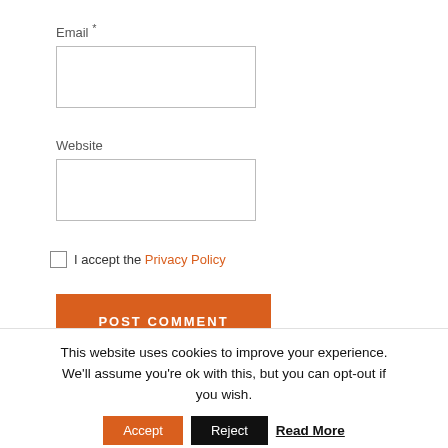Email *
Website
I accept the Privacy Policy
POST COMMENT
This website uses cookies to improve your experience. We'll assume you're ok with this, but you can opt-out if you wish.
Accept
Reject
Read More